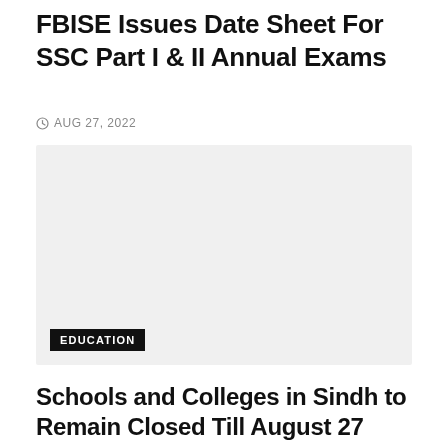FBISE Issues Date Sheet For SSC Part I & II Annual Exams
AUG 27, 2022
[Figure (photo): A light gray placeholder image for the article about FBISE SSC exams, with an EDUCATION tag label overlaid at the bottom left.]
Schools and Colleges in Sindh to Remain Closed Till August 27